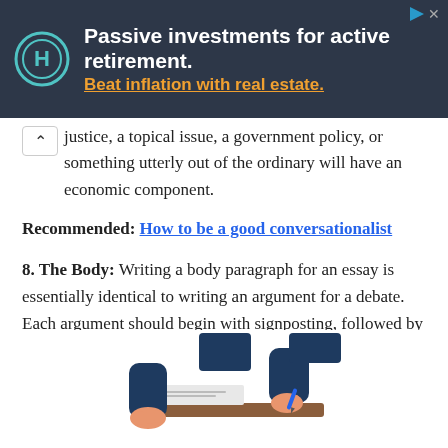[Figure (infographic): Advertisement banner with dark background. Logo of 'H' in a circle on left. Text reads 'Passive investments for active retirement. Beat inflation with real estate.' with close and ad-choice icons in top right corner.]
justice, a topical issue, a government policy, or something utterly out of the ordinary will have an economic component.
Recommended: How to be a good conversationalist
8. The Body: Writing a body paragraph for an essay is essentially identical to writing an argument for a debate. Each argument should begin with signposting, followed by a one-sentence explanation of your case.
[Figure (illustration): Illustration showing two sets of arms/hands at a desk with papers and a pen, wearing dark blue sleeves, depicted in a flat cartoon style.]